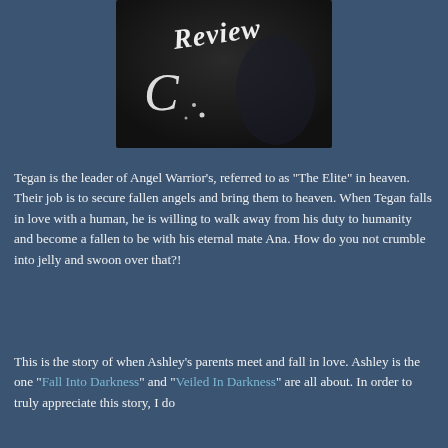[Figure (illustration): Dark book cover with cursive white script text reading 'Review' and decorative script lettering 'C', dark background with figure silhouette]
Tegan is the leader of Angel Warrior's, referred to as “The Elite” in heaven. Their job is to secure fallen angels and bring them to heaven. When Tegan falls in love with a human, he is willing to walk away from his duty to humanity and become a fallen to be with his eternal mate Ana. How do you not crumble into jelly and swoon over that?!
This is the story of when Ashley’s parents meet and fall in love. Ashley is the one "Fall Into Darkness" and "Veiled In Darkness" are all about. In order to truly appreciate this story, I do